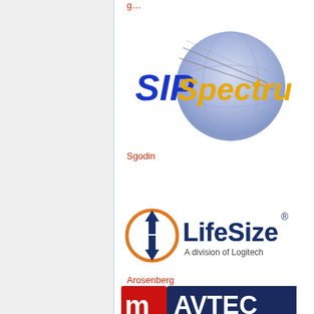[Figure (logo): SIPSpectrum logo - blue globe with stylized SIP text in blue and Spectrum in orange/gold lettering]
Sgodin
[Figure (logo): LifeSize logo - orange circular arrows icon with LifeSize text in dark blue and 'A division of Logitech' subtitle]
Arosenberg
LifeSize Logo
[Figure (logo): AVTEC logo - partial view of red and blue logo with stylized M and AVTEC text]